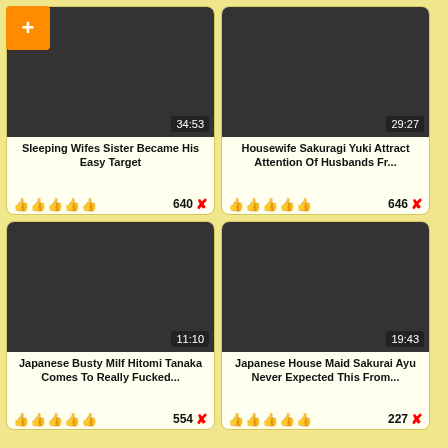[Figure (screenshot): Video thumbnail grid showing adult video site with 4 video cards. Top-left: 'Sleeping Wifes Sister Became His Easy Target', duration 34:53, 640 votes. Top-right: 'Housewife Sakuragi Yuki Attract Attention Of Husbands Fr...', duration 29:27, 646 votes. Bottom-left: 'Japanese Busty Milf Hitomi Tanaka Comes To Really Fucked...', duration 11:10, 554 votes. Bottom-right: 'Japanese House Maid Sakurai Ayu Never Expected This From...', duration 19:43, 227 votes.]